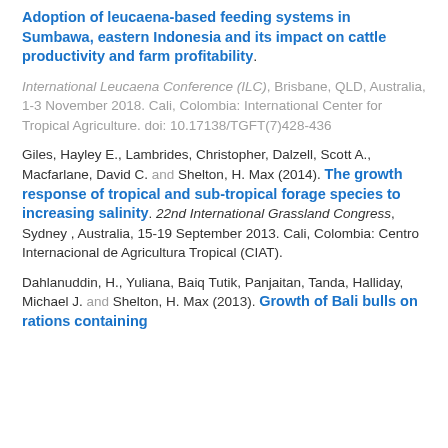Adoption of leucaena-based feeding systems in Sumbawa, eastern Indonesia and its impact on cattle productivity and farm profitability.
International Leucaena Conference (ILC), Brisbane, QLD, Australia, 1-3 November 2018. Cali, Colombia: International Center for Tropical Agriculture. doi: 10.17138/TGFT(7)428-436
Giles, Hayley E., Lambrides, Christopher, Dalzell, Scott A., Macfarlane, David C. and Shelton, H. Max (2014).
The growth response of tropical and sub-tropical forage species to increasing salinity.
22nd International Grassland Congress, Sydney , Australia, 15-19 September 2013. Cali, Colombia: Centro Internacional de Agricultura Tropical (CIAT).
Dahlanuddin, H., Yuliana, Baiq Tutik, Panjaitan, Tanda, Halliday, Michael J. and Shelton, H. Max (2013).
Growth of Bali bulls on rations containing